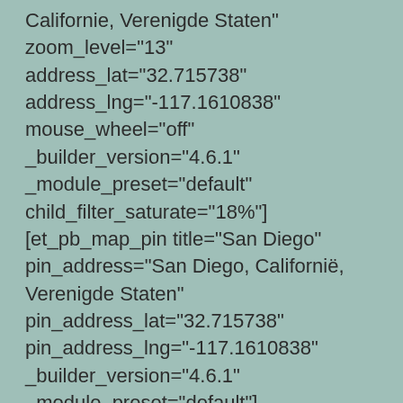Californie, Verenigde Staten" zoom_level="13" address_lat="32.715738" address_lng="-117.1610838" mouse_wheel="off" _builder_version="4.6.1" _module_preset="default" child_filter_saturate="18%"][et_pb_map_pin title="San Diego" pin_address="San Diego, Californië, Verenigde Staten" pin_address_lat="32.715738" pin_address_lng="-117.1610838" _builder_version="4.6.1" _module_preset="default"][/et_pb_map_pin][/et_pb_fullwidth_map][/et_pb_section]